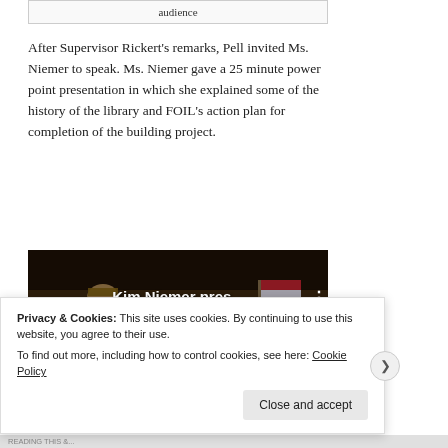| audience |
After Supervisor Rickert's remarks, Pell invited Ms. Niemer to speak. Ms. Niemer gave a 25 minute power point presentation in which she explained some of the history of the library and FOIL's action plan for completion of the building project.
[Figure (screenshot): Video thumbnail showing Kim Niemer presenting at a podium in front of an audience with a Lions International banner and an American flag. Overlay text reads 'Kim Niemer pres...' with a YouTube play button.]
Privacy & Cookies: This site uses cookies. By continuing to use this website, you agree to their use.
To find out more, including how to control cookies, see here: Cookie Policy
Close and accept